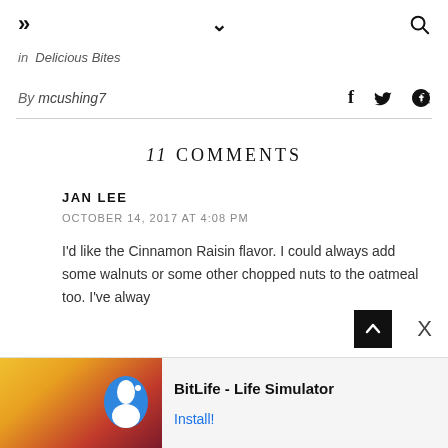» ∨ 🔍
in  Delicious Bites
By mcushing7
11 COMMENTS
JAN LEE
OCTOBER 14, 2017 AT 4:08 PM
I'd like the Cinnamon Raisin flavor. I could always add some walnuts or some other chopped nuts to the oatmeal too. I've alway
[Figure (screenshot): Advertisement banner for BitLife - Life Simulator app with install button]